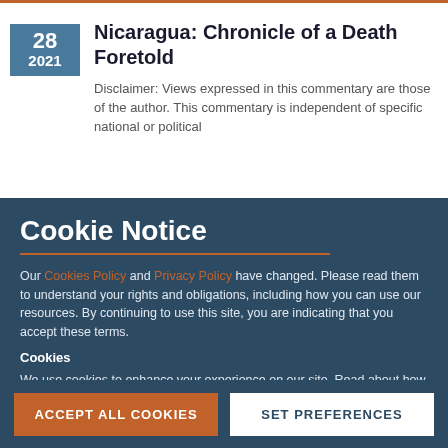Nicaragua: Chronicle of a Death Foretold
Disclaimer: Views expressed in this commentary are those of the author. This commentary is independent of specific national or political
Cookie Notice
Our Cookies Policy and Privacy Policy have changed. Please read them to understand your rights and obligations, including how you can use our resources. By continuing to use this site, you are indicating that you accept these terms.
Cookies
We use cookies to enhance your experience on our site. Read about how we use cookies and how you can control them here. By continuing to use this site, without changing your settings, you are indicating that you accept this policy.
ACCEPT ALL COOKIES
SET PREFERENCES